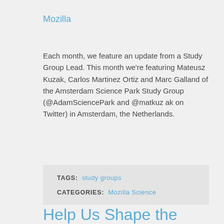Mozilla
Each month, we feature an update from a Study Group Lead. This month we’re featuring Mateusz Kuzak, Carlos Martinez Ortiz and Marc Galland of the Amsterdam Science Park Study Group (@AdamSciencePark and @matkuzak on Twitter) in Amsterdam, the Netherlands.
TAGS: study groups
CATEGORIES: Mozilla Science
Help Us Shape the